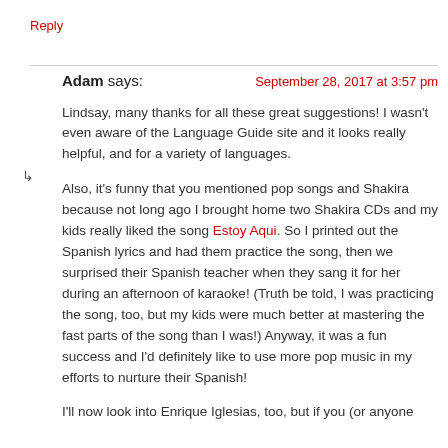Reply
Adam says:
September 28, 2017 at 3:57 pm
Lindsay, many thanks for all these great suggestions! I wasn't even aware of the Language Guide site and it looks really helpful, and for a variety of languages.
Also, it's funny that you mentioned pop songs and Shakira because not long ago I brought home two Shakira CDs and my kids really liked the song Estoy Aqui. So I printed out the Spanish lyrics and had them practice the song, then we surprised their Spanish teacher when they sang it for her during an afternoon of karaoke! (Truth be told, I was practicing the song, too, but my kids were much better at mastering the fast parts of the song than I was!) Anyway, it was a fun success and I'd definitely like to use more pop music in my efforts to nurture their Spanish!
I'll now look into Enrique Iglesias, too, but if you (or anyone